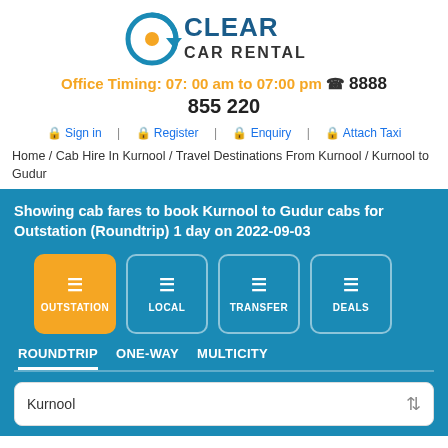[Figure (logo): Clear Car Rental logo with circular arrow icon in blue and orange, company name in dark blue]
Office Timing: 07: 00 am to 07:00 pm 📞 8888
855 220
🔒 Sign in  🔒 Register  🔒 Enquiry  🔒 Attach Taxi
Home / Cab Hire In Kurnool / Travel Destinations From Kurnool / Kurnool to Gudur
Showing cab fares to book Kurnool to Gudur cabs for Outstation (Roundtrip) 1 day on 2022-09-03
OUTSTATION  LOCAL  TRANSFER  DEALS
ROUNDTRIP  ONE-WAY  MULTICITY
Kurnool